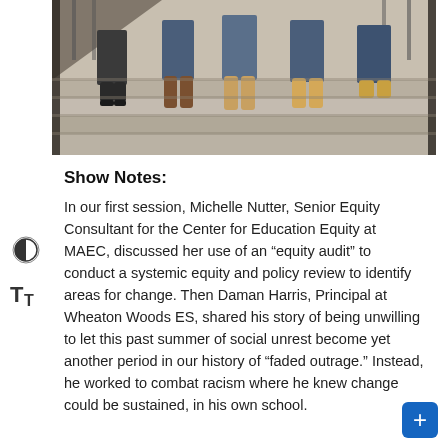[Figure (photo): Group of people sitting on stone steps, shown from waist down, wearing jeans and boots, with a metal railing behind them.]
Show Notes:
In our first session, Michelle Nutter, Senior Equity Consultant for the Center for Education Equity at MAEC, discussed her use of an “equity audit” to conduct a systemic equity and policy review to identify areas for change. Then Daman Harris, Principal at Wheaton Woods ES, shared his story of being unwilling to let this past summer of social unrest become yet another period in our history of “faded outrage.” Instead, he worked to combat racism where he knew change could be sustained, in his own school.